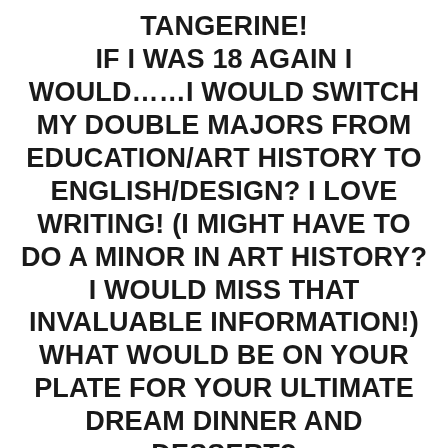TANGERINE!
IF I WAS 18 AGAIN I WOULD…….I WOULD SWITCH MY DOUBLE MAJORS FROM EDUCATION/ART HISTORY TO ENGLISH/DESIGN? I LOVE WRITING! (I MIGHT HAVE TO DO A MINOR IN ART HISTORY? I WOULD MISS THAT INVALUABLE INFORMATION!)
WHAT WOULD BE ON YOUR PLATE FOR YOUR ULTIMATE DREAM DINNER AND DESSERT?
HOMEMADE PASTA WITH BOLOGNESE? AND BREAD! FYI: SUSHI OR PIZZA ARE CLOSE SECONDS. CHEESECAKE FOR DESSERT, DEFINITELY.
TELL US AS LITTLE OR MUCH AS YOU WANT